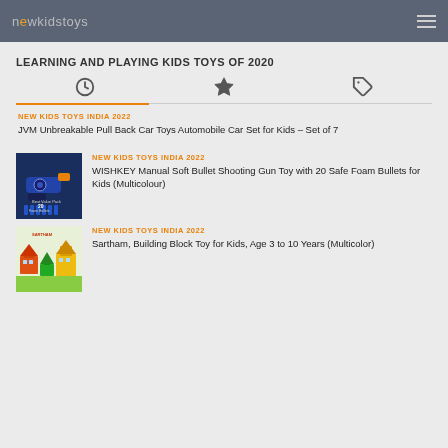newkidstoys
LEARNING AND PLAYING KIDS TOYS OF 2020
NEW KIDS TOYS INDIA 2022
JVM Unbreakable Pull Back Car Toys Automobile Car Set for Kids – Set of 7
[Figure (photo): Blue and orange foam bullet shooting gun toy with foam bullets]
NEW KIDS TOYS INDIA 2022
WISHKEY Manual Soft Bullet Shooting Gun Toy with 20 Safe Foam Bullets for Kids (Multicolour)
[Figure (photo): Colorful building block toy sets forming houses and structures]
NEW KIDS TOYS INDIA 2022
Sartham, Building Block Toy for Kids, Age 3 to 10 Years (Multicolor)